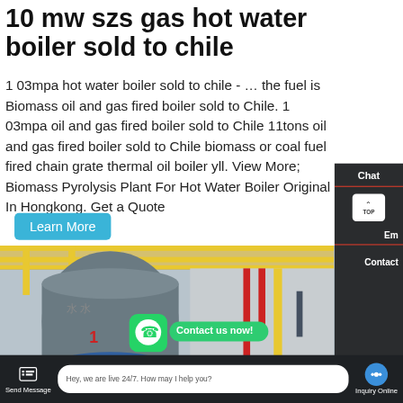10 mw szs gas hot water boiler sold to chile
1 03mpa hot water boiler sold to chile - … the fuel is Biomass oil and gas fired boiler sold to Chile. 1 03mpa oil and gas fired boiler sold to Chile 11tons oil and gas fired boiler sold to Chile biomass or coal fuel fired chain grate thermal oil boiler yll. View More; Biomass Pyrolysis Plant For Hot Water Boiler Original In Hongkong. Get a Quote
[Figure (photo): Industrial gas hot water boiler in a factory setting with yellow pipes, grey cylindrical boiler body with Chinese text markings, and red piping]
Send Message | Hey, we are live 24/7. How may I help you? | Inquiry Online